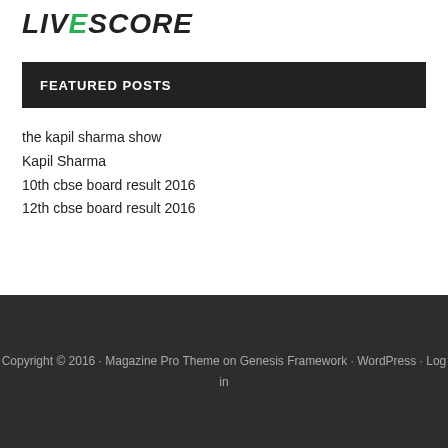LIVESCORE
FEATURED POSTS
the kapil sharma show
Kapil Sharma
10th cbse board result 2016
12th cbse board result 2016
Copyright © 2016 · Magazine Pro Theme on Genesis Framework · WordPress · Log in